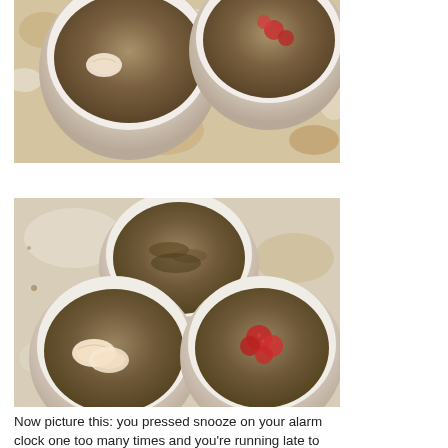[Figure (photo): Top-down view of ramekins/bowls filled with a granola or crumble mixture, with apple slices and red berries, on a marble surface dusted with powder or crumbs. Partial/cropped view.]
[Figure (photo): Top-down view of three white ramekins filled with granola or oat crumble, garnished with apple slices and raspberries, on a marble surface dusted with crumbs and powder.]
Now picture this: you pressed snooze on your alarm clock one too many times and you're running late to work. The last thing on your mind is getting a nutritious and balanced breakfast. Sound familiar? Well, you're not alone! Nearly 40% of Canadians skip breakfast each and every